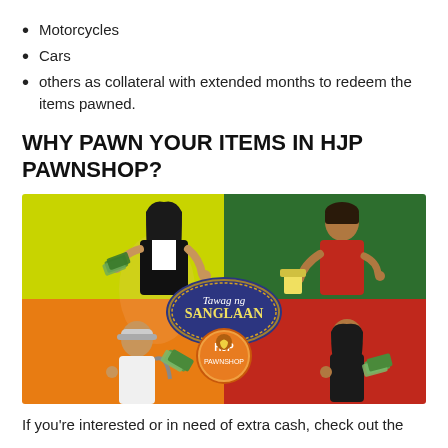Motorcycles
Cars
others as collateral with extended months to redeem the items pawned.
WHY PAWN YOUR ITEMS IN HJP PAWNSHOP?
[Figure (photo): Promotional image divided into four colored quadrants (yellow-green top-left, dark green top-right, orange bottom-left, red bottom-right) showing four smiling people holding cash/money, with a 'Tawag ng Sanglaan' oval logo and HJP Pawnshop circular logo in the center.]
If you're interested or in need of extra cash, check out the